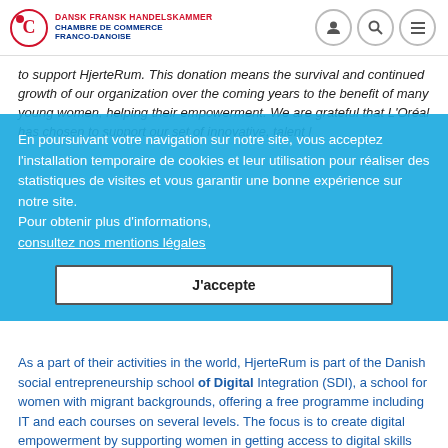DANSK FRANSK HANDELSKAMMER CHAMBRE DE COMMERCE FRANCO-DANOISE
to support HjerteRum. This donation means the survival and continued growth of our organization over the coming years to the benefit of many young women, helping their empowerment. We are grateful that L'Oréal has chosen to support our set of innovative, talent l
En poursuivant votre navigation sur notre site, vous acceptez l'installation temporaire de cookies et leur utilisation pour réaliser des statistiques de visites et vous garantir une bonne expérience sur notre site. Pour obtenir plus d'informations, consultez nos mentions légales
J'accepte
As a part of their activities in the world, HjerteRum is part of the Danish social entrepreneurship school of Digital Integration (SDI), a school for women with migrant backgrounds, offering a free programme including IT and each courses on several levels. The focus is to create digital empowerment by supporting women in getting access to digital skills and a social and professional network in Denmark. This work also contributes to more diversity and inclusion in the Danish labor market - and especially in the IT field.